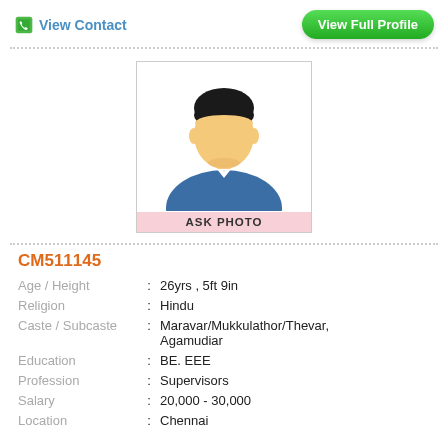View Contact
View Full Profile
[Figure (illustration): Generic male avatar placeholder image with 'ASK PHOTO' label below]
CM511145
| Age / Height | : | 26yrs , 5ft 9in |
| Religion | : | Hindu |
| Caste / Subcaste | : | Maravar/Mukkulathor/Thevar, Agamudiar |
| Education | : | BE. EEE |
| Profession | : | Supervisors |
| Salary | : | 20,000 - 30,000 |
| Location | : | Chennai |